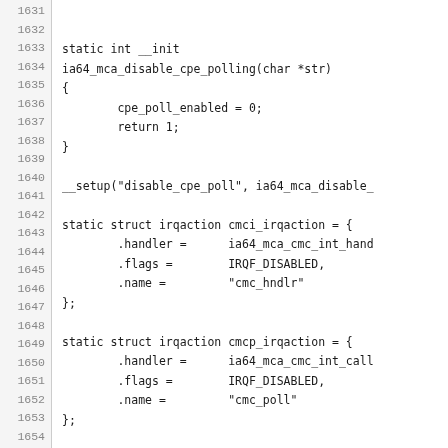Source code listing lines 1631-1660 showing C code for ia64 MCA disable CPE polling function and irqaction struct definitions